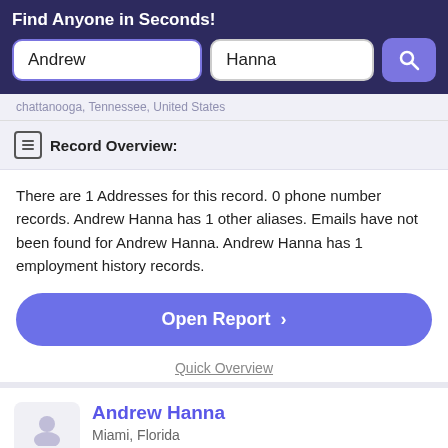Find Anyone in Seconds!
Andrew
Hanna
chattanooga, Tennessee, United States
Record Overview:
There are 1 Addresses for this record. 0 phone number records. Andrew Hanna has 1 other aliases. Emails have not been found for Andrew Hanna. Andrew Hanna has 1 employment history records.
Open Report >
Quick Overview
Andrew Hanna
Miami, Florida
Verified Match